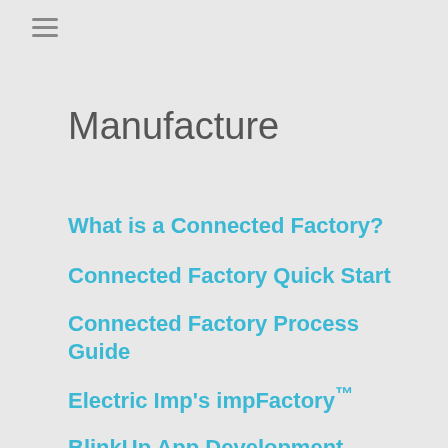Manufacture
What is a Connected Factory? +
Connected Factory Quick Start +
Connected Factory Process Guide +
Electric Imp's impFactory™
BlinkUp App Development +
How to Monitor Your Product —
How Electric Imp Monitors the impCloud™
broad monitoring system to gather data about how your application – more precisely, all of its many thousands